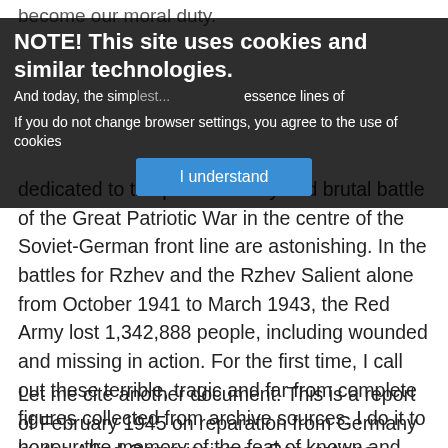become our moral duty.
NOTE! This site uses cookies and similar technologies.
And today, the simp... essence lines of
If you do not change browser settings, you agree to the use of cookies
I understand
dedicated to the parti...ody and brutal battle of the Great Patriotic War in the centre of the Soviet-German front line are astonishing. In the battles for Rzhev and the Rzhev Salient alone from October 1941 to March 1943, the Red Army lost 1,342,888 people, including wounded and missing in action. For the first time, I call out these terrible, tragic and far from complete figures collected from archive sources. I do it to honour the memory of the feat of known and nameless heroes, who for various reasons were undeservingly, and unfairly little talked about or not mentioned at all in the post-war years.
Let me cite another document. This is a report of February 1945 on reparation from Germany by the Allied Commission on Reparations headed by Ivan Maisky. The